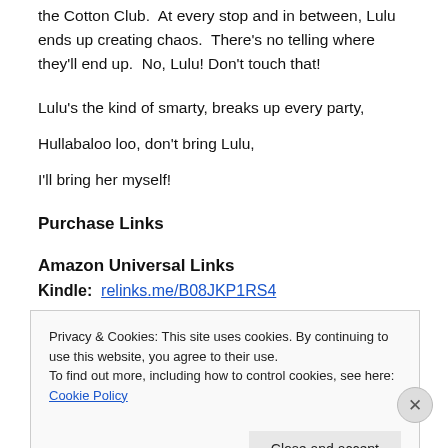the Cotton Club.  At every stop and in between, Lulu ends up creating chaos.  There's no telling where they'll end up.  No, Lulu! Don't touch that!
Lulu's the kind of smarty, breaks up every party,
Hullabaloo loo, don't bring Lulu,
I'll bring her myself!
Purchase Links
Amazon Universal Links
Kindle:  relinks.me/B08JKP1RS4
Privacy & Cookies: This site uses cookies. By continuing to use this website, you agree to their use.
To find out more, including how to control cookies, see here: Cookie Policy
Close and accept